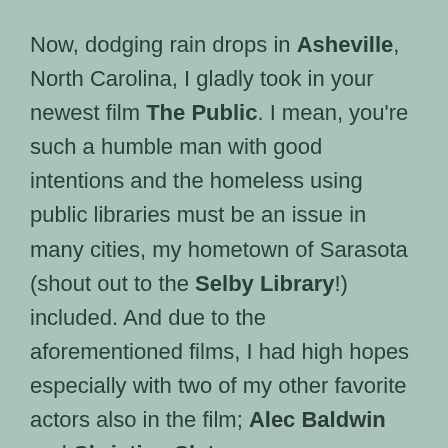Now, dodging rain drops in Asheville, North Carolina, I gladly took in your newest film The Public. I mean, you're such a humble man with good intentions and the homeless using public libraries must be an issue in many cities, my hometown of Sarasota (shout out to the Selby Library!) included. And due to the aforementioned films, I had high hopes especially with two of my other favorite actors also in the film; Alec Baldwin and Christian Slater.

But boy, did I wish wish wish after the fact that